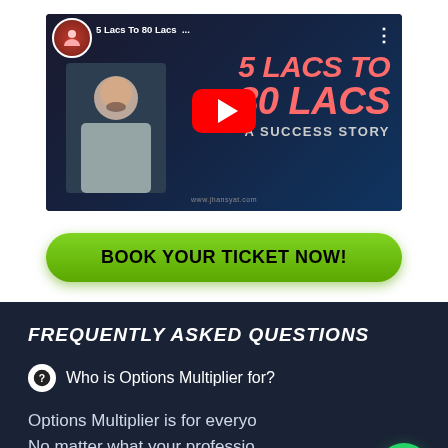[Figure (screenshot): YouTube video thumbnail titled '5 Lacs To 80 Lacs ...' showing a success story video with a man's photo, large red/orange text '5 LACS TO 80 LACS A SUCCESS STORY', YouTube play button, and watermark 'www.jhansyat.com']
BOOK YOUR TICKET NOW!
FREQUENTLY ASKED QUESTIONS
Who is Options Multiplier for?
Options Multiplier is for everyo... No matter what your professio... background is, if you know simple